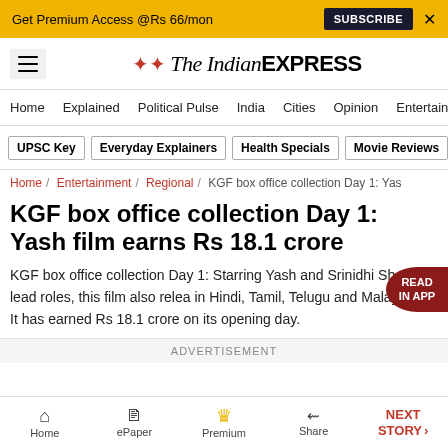Get Premium Access @Rs 66/mon  SUBSCRIBE  X
[Figure (logo): The Indian Express logo with hamburger menu icon]
Home / Explained / Political Pulse / India / Cities / Opinion / Entertainment
UPSC Key  Everyday Explainers  Health Specials  Movie Reviews
Home / Entertainment / Regional / KGF box office collection Day 1: Yas
KGF box office collection Day 1: Yash film earns Rs 18.1 crore
KGF box office collection Day 1: Starring Yash and Srinidhi Shetty in lead roles, this film also released in Hindi, Tamil, Telugu and Malayalam. It has earned Rs 18.1 crore on its opening day.
ADVERTISEMENT
Home  ePaper  Premium  Share  NEXT STORY